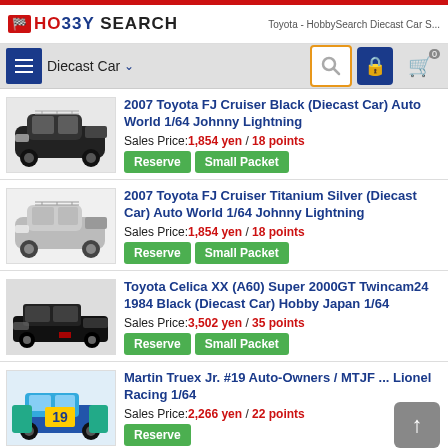HobbySearch — Toyota - HobbySearch Diecast Car S...
2007 Toyota FJ Cruiser Black (Diecast Car) Auto World 1/64 Johnny Lightning | Sales Price: 1,854 yen / 18 points | Reserve | Small Packet
2007 Toyota FJ Cruiser Titanium Silver (Diecast Car) Auto World 1/64 Johnny Lightning | Sales Price: 1,854 yen / 18 points | Reserve | Small Packet
Toyota Celica XX (A60) Super 2000GT Twincam24 1984 Black (Diecast Car) Hobby Japan 1/64 | Sales Price: 3,502 yen / 35 points | Reserve | Small Packet
Martin Truex Jr. #19 Auto-Owners / MTJF ... Lionel Racing 1/64 | Sales Price: 2,266 yen / 22 points | Reserve
Toyota Celica GT300 Super (A54A60) Silver (Di... [partial]